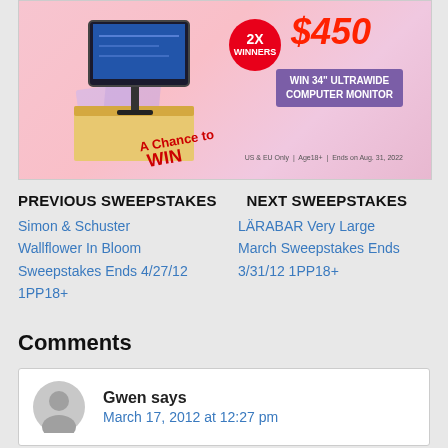[Figure (illustration): Advertisement banner showing a computer monitor sweepstakes. Text reads '$450', '2X WINNERS', 'WIN 34" ULTRAWIDE COMPUTER MONITOR', 'A Chance to WIN', 'US & EU Only | Age 18+ | Ends on Aug. 31, 2022']
PREVIOUS SWEEPSTAKES  NEXT SWEEPSTAKES
Simon & Schuster Wallflower In Bloom Sweepstakes Ends 4/27/12 1PP18+
LÄRABAR Very Large March Sweepstakes Ends 3/31/12 1PP18+
Comments
Gwen says
March 17, 2012 at 12:27 pm